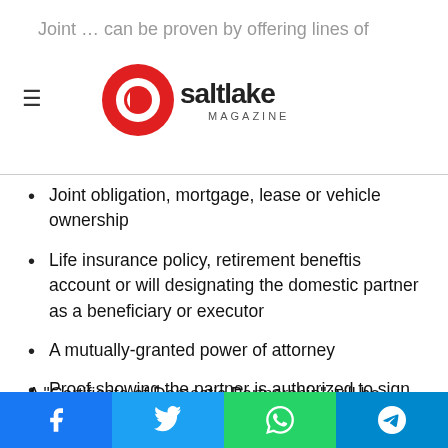Q Salt Lake Magazine
Joint … can be proven by offering lines of
Joint obligation, mortgage, lease or vehicle ownership
Life insurance policy, retirement beneftis account or will designating the domestic partner as a beneficiary or executor
A mutually-granted power of attorney
Proof showing the partner is authorized to sign for the purposes of the other's bank or credit account
Proof of join bank or credit account
A "Certificate of Domestic Partnership" will be awarded attesting that the two individuals are in a relationship of "mutual